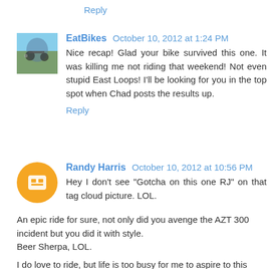Reply
EatBikes  October 10, 2012 at 1:24 PM
Nice recap! Glad your bike survived this one. It was killing me not riding that weekend! Not even stupid East Loops! I'll be looking for you in the top spot when Chad posts the results up.
Reply
Randy Harris  October 10, 2012 at 10:56 PM
Hey I don't see "Gotcha on this one RJ" on that tag cloud picture. LOL.
An epic ride for sure, not only did you avenge the AZT 300 incident but you did it with style.
Beer Sherpa, LOL.
I do love to ride, but life is too busy for me to aspire to this